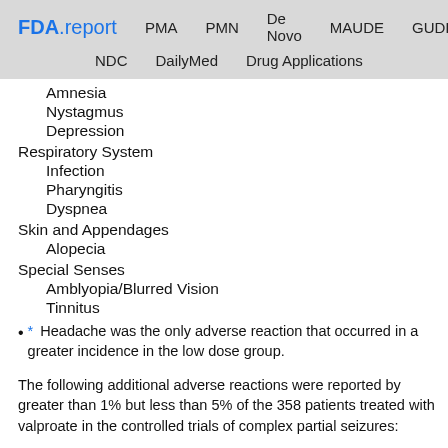FDA.report  PMA  PMN  De Novo  MAUDE  GUDID  NDC  DailyMed  Drug Applications
Amnesia
Nystagmus
Depression
Respiratory System
Infection
Pharyngitis
Dyspnea
Skin and Appendages
Alopecia
Special Senses
Amblyopia/Blurred Vision
Tinnitus
* Headache was the only adverse reaction that occurred in a greater incidence in the low dose group.
The following additional adverse reactions were reported by greater than 1% but less than 5% of the 358 patients treated with valproate in the controlled trials of complex partial seizures: